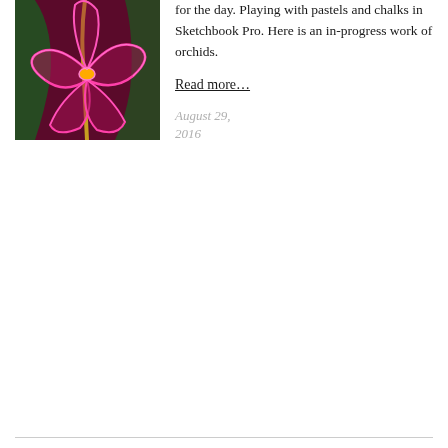[Figure (illustration): Digital artwork of orchid flowers with neon pink/magenta outlines on a dark maroon/purple background, with green leaves visible. The style appears to be a digital pastel/chalk drawing in progress.]
for the day. Playing with pastels and chalks in Sketchbook Pro. Here is an in-progress work of orchids.
Read more…
August 29, 2016